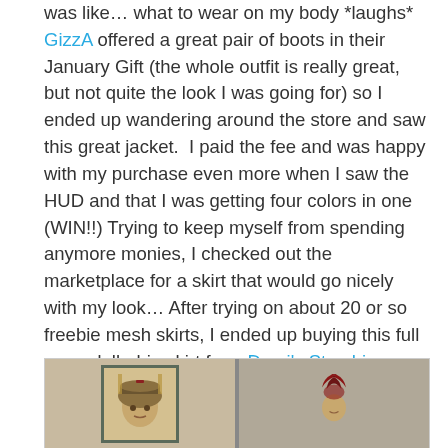was like… what to wear on my body *laughs* GizzA offered a great pair of boots in their January Gift (the whole outfit is really great, but not quite the look I was going for) so I ended up wandering around the store and saw this great jacket.  I paid the fee and was happy with my purchase even more when I saw the HUD and that I was getting four colors in one (WIN!!) Trying to keep myself from spending anymore monies, I checked out the marketplace for a skirt that would go nicely with my look… After trying on about 20 or so freebie mesh skirts, I ended up buying this full perm dollarbie skirt from Demi's Starshine marketplace store. I saw these Madrid Solo eyes when I picked up some gifts over at the WOMENstuff Lounge.
[Figure (photo): Two side-by-side photos in a gray panel. Left photo shows a character or avatar face with an ornate headdress. Right photo shows a character or avatar with a dark red/maroon hair accessory or hat with pointed elements.]